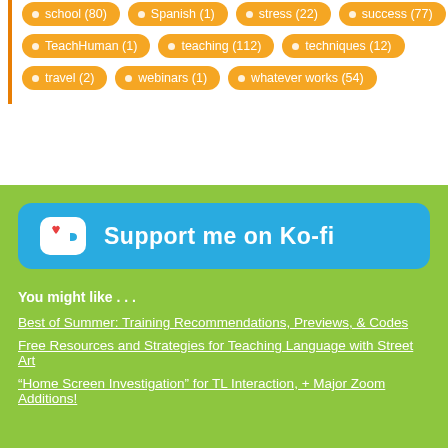school (80)
Spanish (1)
stress (22)
success (77)
TeachHuman (1)
teaching (112)
techniques (12)
travel (2)
webinars (1)
whatever works (54)
[Figure (logo): Ko-fi support button with heart and cup icon, blue background, text: Support me on Ko-fi]
You might like . . .
Best of Summer: Training Recommendations, Previews, & Codes
Free Resources and Strategies for Teaching Language with Street Art
“Home Screen Investigation” for TL Interaction, + Major Zoom Additions!